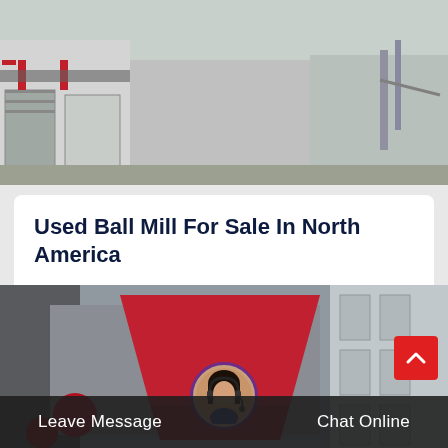[Figure (photo): Outdoor industrial facility with white buildings, garage doors, and machinery visible in daylight]
Used Ball Mill For Sale In North America
Used ball mill for sale in north america products as a leading global manufacturer of crushing grinding and mining equipments we offer…
[Figure (photo): Industrial crusher machinery with red components inside a factory/warehouse setting]
Leave Message   Chat Online